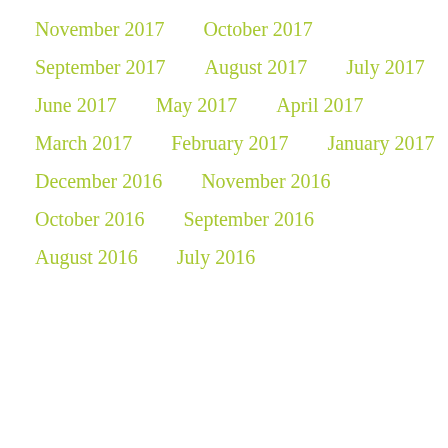November 2017
October 2017
September 2017
August 2017
July 2017
June 2017
May 2017
April 2017
March 2017
February 2017
January 2017
December 2016
November 2016
October 2016
September 2016
August 2016
July 2016